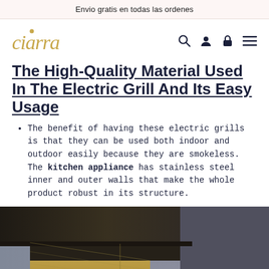Envio gratis en todas las ordenes
[Figure (logo): Ciarra brand logo in gold/tan italic serif font with a dot above the letter c]
The High-Quality Material Used In The Electric Grill And Its Easy Usage
The benefit of having these electric grills is that they can be used both indoor and outdoor easily because they are smokeless. The kitchen appliance has stainless steel inner and outer walls that make the whole product robust in its structure.
[Figure (photo): Close-up photo of a kitchen appliance (electric grill/range hood) showing dark metallic surfaces with wood-paneled cabinet below, against a grey wall background]